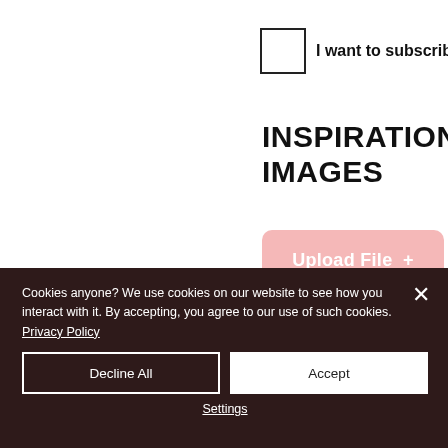I want to subscribe to t
INSPIRATION IMAGES
[Figure (other): Pink rounded Upload File + button]
Cookies anyone? We use cookies on our website to see how you interact with it. By accepting, you agree to our use of such cookies. Privacy Policy
Decline All
Accept
Settings